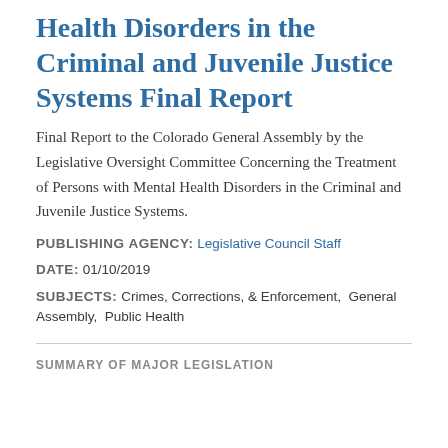Health Disorders in the Criminal and Juvenile Justice Systems Final Report
Final Report to the Colorado General Assembly by the Legislative Oversight Committee Concerning the Treatment of Persons with Mental Health Disorders in the Criminal and Juvenile Justice Systems.
PUBLISHING AGENCY: Legislative Council Staff
DATE: 01/10/2019
SUBJECTS: Crimes, Corrections, & Enforcement,  General Assembly,  Public Health
SUMMARY OF MAJOR LEGISLATION